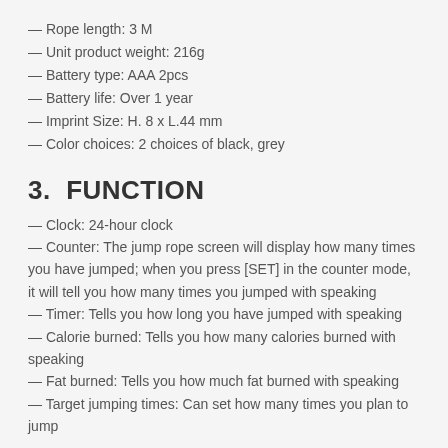— Rope length: 3 M
— Unit product weight: 216g
— Battery type: AAA 2pcs
— Battery life: Over 1 year
— Imprint Size: H. 8 x L.44 mm
— Color choices: 2 choices of black, grey
3.  FUNCTION
— Clock: 24-hour clock
— Counter: The jump rope screen will display how many times you have jumped; when you press [SET] in the counter mode, it will tell you how many times you jumped with speaking
— Timer: Tells you how long you have jumped with speaking
— Calorie burned: Tells you how many calories burned with speaking
— Fat burned: Tells you how much fat burned with speaking
— Target jumping times: Can set how many times you plan to jump